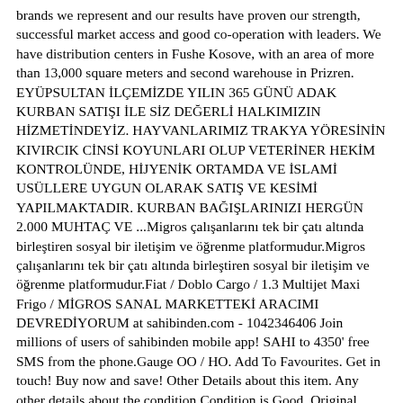brands we represent and our results have proven our strength, successful market access and good co-operation with leaders. We have distribution centers in Fushe Kosove, with an area of more than 13,000 square meters and second warehouse in Prizren. EYÜPSULTAN İLÇEMİZDE YILIN 365 GÜNÜ ADAK KURBAN SATIŞI İLE SİZ DEĞERLİ HALKIMIZIN HİZMETİNDEYİZ. HAYVANLARIMIZ TRAKYA YÖRESİNİN KIVIRCIK CİNSİ KOYUNLARI OLUP VETERİNER HEKİM KONTROLÜNDE, HİJYENİK ORTAMDA VE İSLAMİ USÜLLERE UYGUN OLARAK SATIŞ VE KESİMİ YAPILMAKTADIR. KURBAN BAĞIŞLARINIZI HERGÜN 2.000 MUHTAÇ VE ...Migros çalışanlarını tek bir çatı altında birleştiren sosyal bir iletişim ve öğrenme platformudur.Migros çalışanlarını tek bir çatı altında birleştiren sosyal bir iletişim ve öğrenme platformudur.Fiat / Doblo Cargo / 1.3 Multijet Maxi Frigo / MİGROS SANAL MARKETTEKİ ARACIMI DEVREDİYORUM at sahibinden.com - 1042346406 Join millions of users of sahibinden mobile app! SAHI to 4350' free SMS from the phone.Gauge OO / HO. Add To Favourites. Get in touch! Buy now and save! Other Details about this item. Any other details about the condition Condition is Good. Original Box: Yes. Running Condition (1-5, 5 being the best): N/A.Fiat / Doblo Cargo / 1.3 Multijet Maxi Frigo / MİGROS SANAL MARKETTEKİ ARACIMI DEVREDİYORUM at sahibinden.com - 1042346406 Join millions of users of sahibinden mobile app! SAHI to 4350'